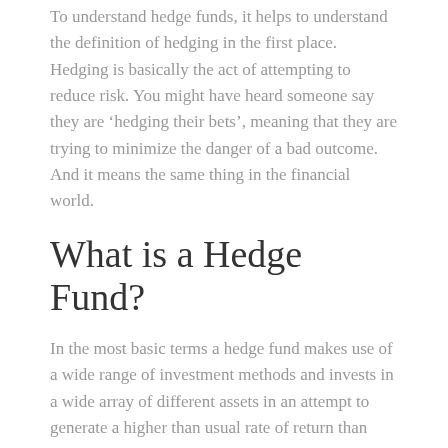To understand hedge funds, it helps to understand the definition of hedging in the first place. Hedging is basically the act of attempting to reduce risk. You might have heard someone say they are ‘hedging their bets’, meaning that they are trying to minimize the danger of a bad outcome. And it means the same thing in the financial world.
What is a Hedge Fund?
In the most basic terms a hedge fund makes use of a wide range of investment methods and invests in a wide array of different assets in an attempt to generate a higher than usual rate of return than more standard investments might. This means that usually a hedge fund is a riskier investment than most, as a bigger payoff will